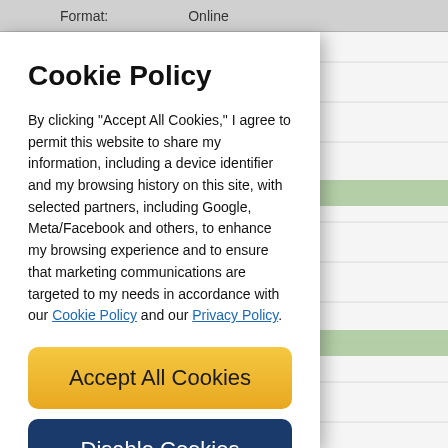Format:    Online
Cookie Policy
By clicking “Accept All Cookies,” I agree to permit this website to share my information, including a device identifier and my browsing history on this site, with selected partners, including Google, Meta/Facebook and others, to enhance my browsing experience and to ensure that marketing communications are targeted to my needs in accordance with our Cookie Policy and our Privacy Policy.
[Figure (screenshot): Accept All Cookies button (yellow/gold gradient, rounded rectangle)]
[Figure (screenshot): Disable Cookies button (dark navy blue, rounded rectangle)]